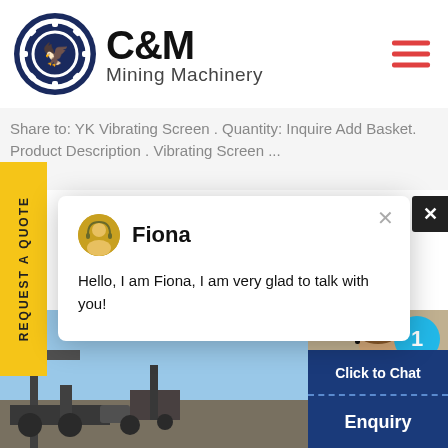[Figure (logo): C&M Mining Machinery logo with circular navy blue emblem and bold text]
Share to: YK Vibrating Screen . Quantity: Inquire Add Basket. Product Description . Vibrating Screen ...
REQUEST A QUOTE
[Figure (screenshot): Chat popup with avatar of Fiona and message 'Hello, I am Fiona, I am very glad to talk with you!']
[Figure (photo): Bottom section showing outdoor photo with blue sky and machinery on left, customer service agent photo on right with 'Click to Chat' button and 'Enquiry' text]